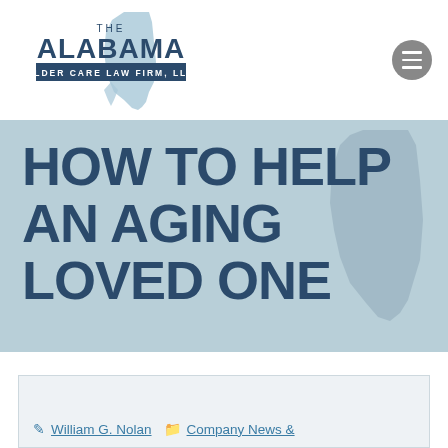[Figure (logo): The Alabama Elder Care Law Firm, LLC logo with state of Alabama silhouette in light blue]
HOW TO HELP AN AGING LOVED ONE
William G. Nolan  Company News &
[Figure (other): Hamburger menu icon button (three horizontal lines on grey circle)]